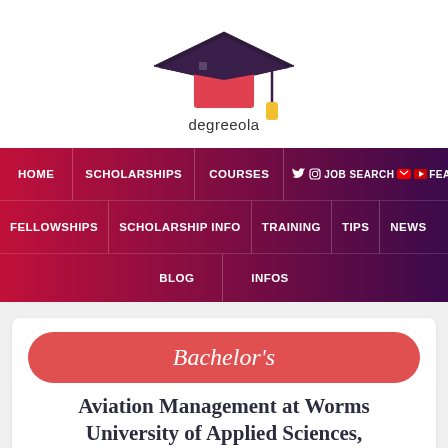[Figure (logo): Degreeola logo: graduation cap icon in red and dark purple with yellow tassel, text 'degreeola' below]
[Figure (screenshot): Navigation menu bar with dark red to purple gradient background containing menu items: HOME, SCHOLARSHIPS, COURSES, JOB SEARCH, FEATURED (with social icons), FELLOWSHIPS, SCHOLARSHIP INFO, TRAINING, TIPS, NEWS, BLOG, INFOS]
Bachelor's
Aviation Management at Worms University of Applied Sciences,